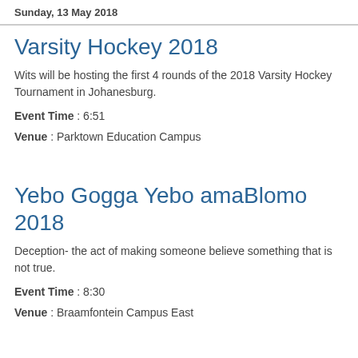Sunday, 13 May 2018
Varsity Hockey 2018
Wits will be hosting the first 4 rounds of the 2018 Varsity Hockey Tournament in Johanesburg.
Event Time : 6:51
Venue : Parktown Education Campus
Yebo Gogga Yebo amaBlomo 2018
Deception- the act of making someone believe something that is not true.
Event Time : 8:30
Venue : Braamfontein Campus East